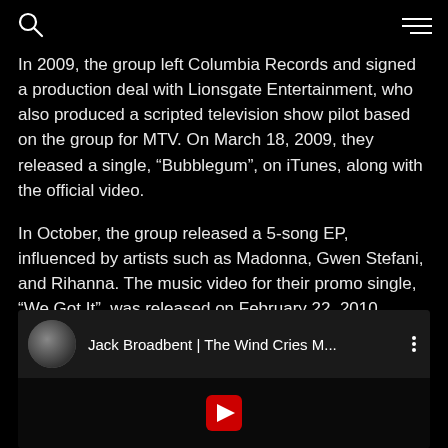[search icon] [menu icon]
In 2009, the group left Columbia Records and signed a production deal with Lionsgate Entertainment, who also produced a scripted television show pilot based on the group for MTV. On March 18, 2009, they released a single, “Bubblegum”, on iTunes, along with the official video.
In October, the group released a 5-song EP, influenced by artists such as Madonna, Gwen Stefani, and Rihanna. The music video for their promo single, “We Got It”, was released on February 22, 2010.
[Figure (screenshot): YouTube video embed thumbnail showing Jack Broadbent | The Wind Cries M... with a circular profile photo and three-dot menu icon, with a dark video preview area and red YouTube play button below.]